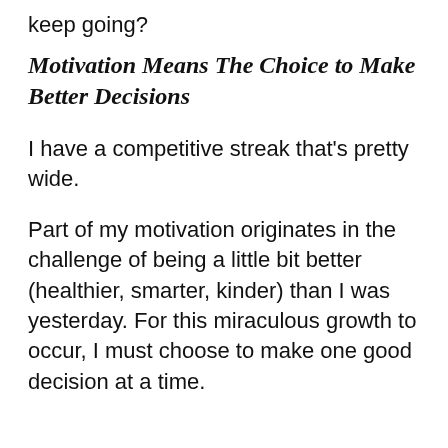keep going?
Motivation Means The Choice to Make Better Decisions
I have a competitive streak that's pretty wide.
Part of my motivation originates in the challenge of being a little bit better (healthier, smarter, kinder) than I was yesterday. For this miraculous growth to occur, I must choose to make one good decision at a time.